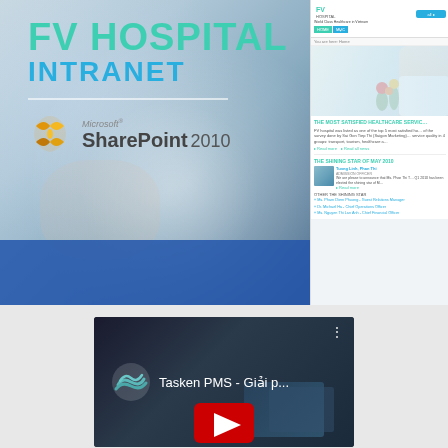[Figure (screenshot): FV Hospital Intranet slide: left panel shows 'FV HOSPITAL INTRANET' title text in teal/cyan over a blurred medical background with Microsoft SharePoint 2010 logo, with blue bar at bottom. Right panel shows a screenshot of the FV Hospital intranet portal built on SharePoint 2010 with hospital logo, navigation, hero image with doctor, news sections about 'The Most Satisfied Healthcare Service' and 'The Shining Star of May 2010'.]
[Figure (screenshot): Video thumbnail for 'Tasken PMS - Giải p...' showing a dark background with the Tasken logo (teal wave circles), video title text in white, a tablet device in background, and a red YouTube play button at bottom center, with three-dot menu icon at top right.]